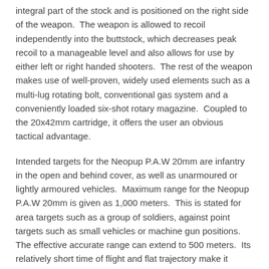integral part of the stock and is positioned on the right side of the weapon. The weapon is allowed to recoil independently into the buttstock, which decreases peak recoil to a manageable level and also allows for use by either left or right handed shooters. The rest of the weapon makes use of well-proven, widely used elements such as a multi-lug rotating bolt, conventional gas system and a conveniently loaded six-shot rotary magazine. Coupled to the 20x42mm cartridge, it offers the user an obvious tactical advantage.
Intended targets for the Neopup P.A.W 20mm are infantry in the open and behind cover, as well as unarmoured or lightly armoured vehicles. Maximum range for the Neopup P.A.W 20mm is given as 1,000 meters. This is stated for area targets such as a group of soldiers, against point targets such as small vehicles or machine gun positions. The effective accurate range can extend to 500 meters. Its relatively short time of flight and flat trajectory make it possible to engage targets out to this range.
The weapon is equipped with a well calibrated, easy to use ballistic compensator, which is marked in 50-meter